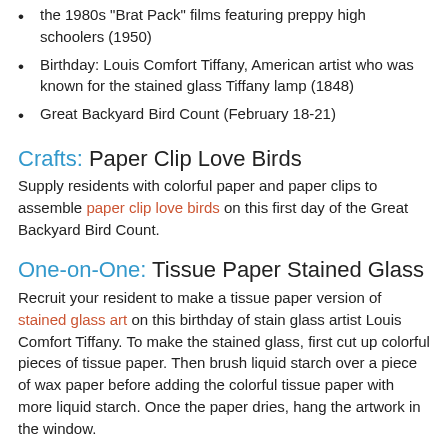the 1980s 'Brat Pack' films featuring preppy high schoolers (1950)
Birthday: Louis Comfort Tiffany, American artist who was known for the stained glass Tiffany lamp (1848)
Great Backyard Bird Count (February 18-21)
Crafts: Paper Clip Love Birds
Supply residents with colorful paper and paper clips to assemble paper clip love birds on this first day of the Great Backyard Bird Count.
One-on-One: Tissue Paper Stained Glass
Recruit your resident to make a tissue paper version of stained glass art on this birthday of stain glass artist Louis Comfort Tiffany. To make the stained glass, first cut up colorful pieces of tissue paper. Then brush liquid starch over a piece of wax paper before adding the colorful tissue paper with more liquid starch. Once the paper dries, hang the artwork in the window.
Exercise: Art Walk